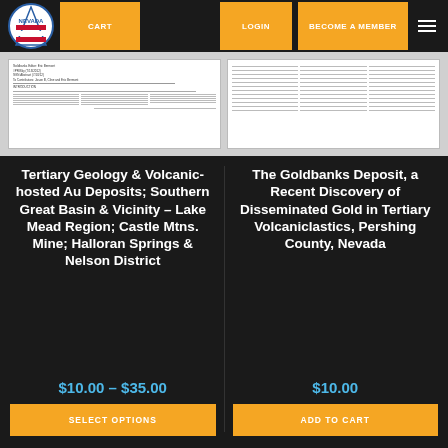CART | LOGIN | BECOME A MEMBER
[Figure (logo): Nevada geological society circular logo with state outline and rock/fossil imagery]
[Figure (screenshot): Thumbnail of document page - Tertiary Geology and Volcanic-hosted Au Deposits publication]
[Figure (screenshot): Thumbnail of document page - The Goldbanks Deposit paper with columns of text]
Tertiary Geology & Volcanic-hosted Au Deposits; Southern Great Basin & Vicinity – Lake Mead Region; Castle Mtns. Mine; Halloran Springs & Nelson District
$10.00 – $35.00
SELECT OPTIONS
The Goldbanks Deposit, a Recent Discovery of Disseminated Gold in Tertiary Volcaniclastics, Pershing County, Nevada
$10.00
ADD TO CART